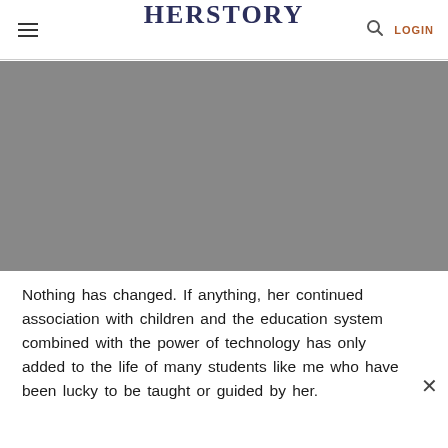HERSTORY | LOGIN
[Figure (photo): Large grey/dark image area, content not visible]
Nothing has changed. If anything, her continued association with children and the education system combined with the power of technology has only added to the life of many students like me who have been lucky to be taught or guided by her.